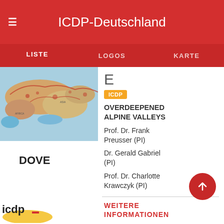ICDP-Deutschland
LISTE   LOGOS   KARTE
[Figure (map): Topographic world map showing tectonic/geological features in warm and cool colors]
DOVE
OVERDEEPENED ALPINE VALLEYS
ICDP
Prof. Dr. Frank Preusser (PI)
Dr. Gerald Gabriel (PI)
Prof. Dr. Charlotte Krawczyk (PI)
WEITERE INFORMATIONEN
[Figure (logo): ICDP logo partial view at bottom left]